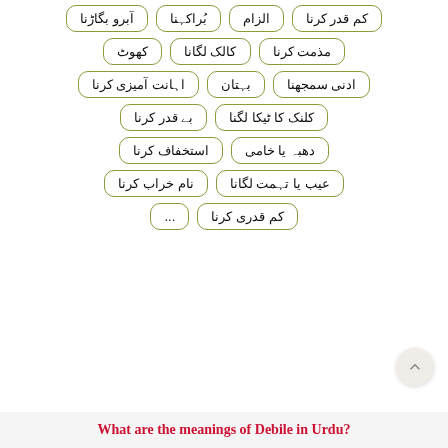آبرو بگاڑنا
بُراکہنا
الزام
کم قدر کرنا
کھوٹ
کالک لگانا
مذمت کرنا
اہانت آمیزی کرنا
بہتان
ادنی سمجھنا
بے قدر کرنا
کلنک کا ٹیکا لگنا
استخفاف کرنا
دھبہ یا خامی
نام خراب کرنا
عیب یا تہمت لگانا
...
کم قدری کرنا
What are the meanings of Debile in Urdu?